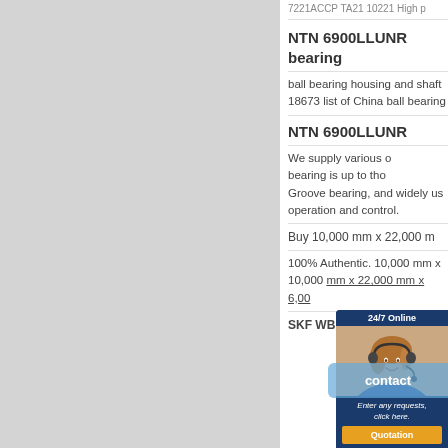7221ACCP TA21 10221 High p...
NTN 6900LLUNR bearing
ball bearing housing and shaft 18673 list of China ball bearing
NTN 6900LLUNR
We supply various of bearing is up to thousands. Groove bearing, and widely use operation and control.
Buy 10,000 mm x 22,000 m
100% Authentic. 10,000 mm x 10,000 mm x 22,000 mm x 6,00
SKF WBB1-8781 bearing
[Figure (illustration): Customer service chat widget with photo of smiling woman wearing headset, dark blue background, 24/7 Online label, Enter any requests click here text, and Quotation button]
[Figure (illustration): Light blue contact button overlay at bottom right]